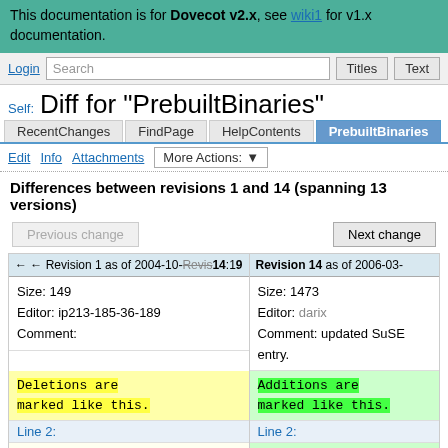This documentation is for Dovecot v2.x, see wiki1 for v1.x documentation.
Login | Search | Titles | Text
Diff for "PrebuiltBinaries"
RecentChanges | FindPage | HelpContents | PrebuiltBinaries
Edit | Info | Attachments | More Actions:
Differences between revisions 1 and 14 (spanning 13 versions)
| Revision 1 as of 2004-10-... | Revision 14 as of 2006-03-... |
| --- | --- |
| Size: 149
Editor: ip213-185-36-189
Comment: | Size: 1473
Editor: darix
Comment: updated SuSE entry. |
| Deletions are marked like this. | Additions are marked like this. |
| Line 2: | Line 2: |
|  | In binary packages the configuration |